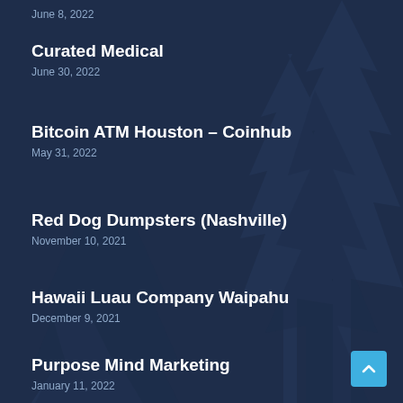June 8, 2022
Curated Medical
June 30, 2022
Bitcoin ATM Houston – Coinhub
May 31, 2022
Red Dog Dumpsters (Nashville)
November 10, 2021
Hawaii Luau Company Waipahu
December 9, 2021
Purpose Mind Marketing
January 11, 2022